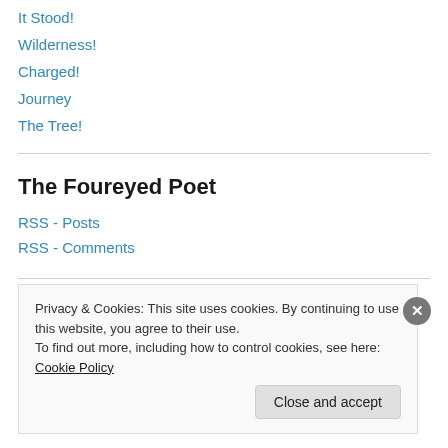It Stood!
Wilderness!
Charged!
Journey
The Tree!
The Foureyed Poet
RSS - Posts
RSS - Comments
Privacy & Cookies: This site uses cookies. By continuing to use this website, you agree to their use. To find out more, including how to control cookies, see here: Cookie Policy
Close and accept